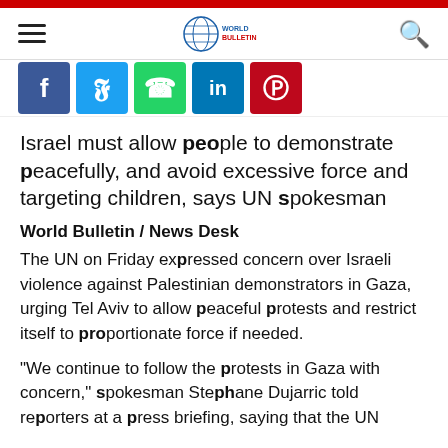World Bulletin
Israel must allow people to demonstrate peacefully, and avoid excessive force and targeting children, says UN spokesman
World Bulletin / News Desk
The UN on Friday expressed concern over Israeli violence against Palestinian demonstrators in Gaza, urging Tel Aviv to allow peaceful protests and restrict itself to proportionate force if needed.
"We continue to follow the protests in Gaza with concern," spokesman Stephane Dujarric told reporters at a press briefing, saying that the UN